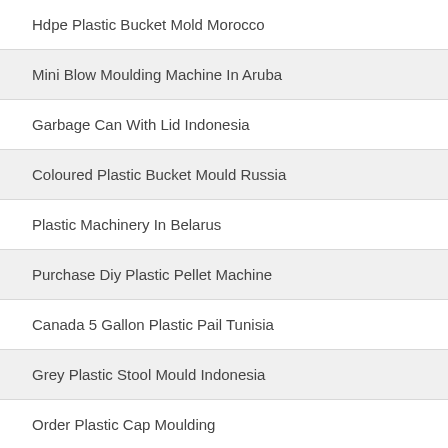Hdpe Plastic Bucket Mold Morocco
Mini Blow Moulding Machine In Aruba
Garbage Can With Lid Indonesia
Coloured Plastic Bucket Mould Russia
Plastic Machinery In Belarus
Purchase Diy Plastic Pellet Machine
Canada 5 Gallon Plastic Pail Tunisia
Grey Plastic Stool Mould Indonesia
Order Plastic Cap Moulding
Plastic Crusher Machine Blade In Panama